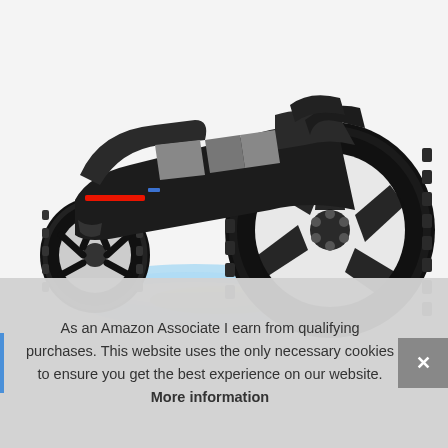[Figure (photo): An off-road hoverboard / self-balancing scooter with large knobby black tires and white spoke rims, black body with grey accents and red LED light strip, shown at an angle with blue/yellow speed-effect trails emanating from underneath, on a white/light grey background.]
As an Amazon Associate I earn from qualifying purchases. This website uses the only necessary cookies to ensure you get the best experience on our website. More information